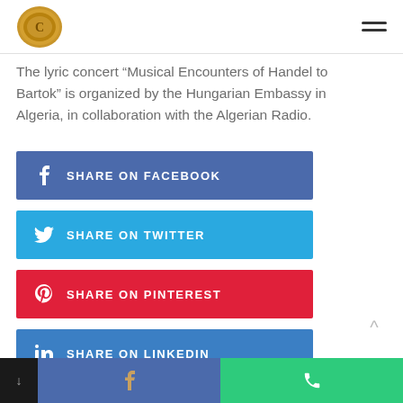Logo and navigation menu
The lyric concert “Musical Encounters of Handel to Bartok” is organized by the Hungarian Embassy in Algeria, in collaboration with the Algerian Radio.
SHARE ON FACEBOOK
SHARE ON TWITTER
SHARE ON PINTEREST
SHARE ON LINKEDIN